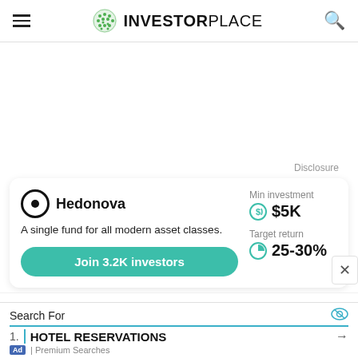INVESTORPLACE
Disclosure
[Figure (infographic): Hedonova investment card: logo with target reticle icon, name 'Hedonova', description 'A single fund for all modern asset classes.', Join 3.2K investors button, Min investment $5K, Target return 25-30%]
FarmTogether  Min investment
Search For
1. HOTEL RESERVATIONS
Ad | Premium Searches